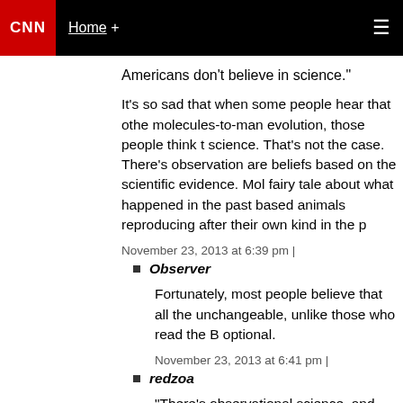CNN | Home + ☰
Americans don't believe in science."
It's so sad that when some people hear that others don't accept molecules-to-man evolution, those people think that means they don't believe in science. That's not the case. There's observational science and then there are beliefs based on the scientific evidence. Molecules-to-man evolution is a fairy tale about what happened in the past based on... We observe animals reproducing after their own kind in the present...
November 23, 2013 at 6:39 pm |
Observer
Fortunately, most people believe that all the laws of science are unchangeable, unlike those who read the Bible as if it were optional.
November 23, 2013 at 6:41 pm |
redzoa
"There's observational science, and then th...